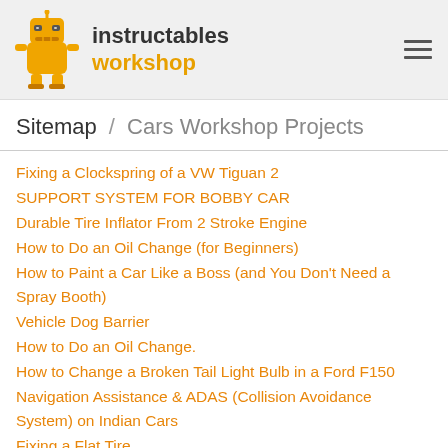instructables workshop
Sitemap / Cars Workshop Projects
Fixing a Clockspring of a VW Tiguan 2
SUPPORT SYSTEM FOR BOBBY CAR
Durable Tire Inflator From 2 Stroke Engine
How to Do an Oil Change (for Beginners)
How to Paint a Car Like a Boss (and You Don't Need a Spray Booth)
Vehicle Dog Barrier
How to Do an Oil Change.
How to Change a Broken Tail Light Bulb in a Ford F150
Navigation Assistance & ADAS (Collision Avoidance System) on Indian Cars
Fixing a Flat Tire
Full Engine Rebuild for 1959 Austin Healey Bugeye (Frogeye)
How to Install an Oil Catch Can - Lexus ISF
How to Change Oil
BEST Automotive Smoke Machine You Can Build